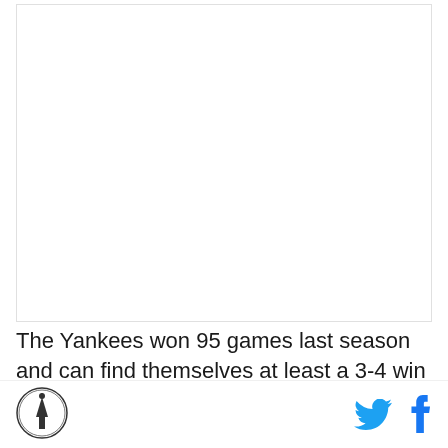[Figure (photo): Large blank/white image area representing an embedded photo or advertisement placeholder]
The Yankees won 95 games last season and can find themselves at least a 3-4 win improvement simply by
[Figure (logo): Circular logo with a torch/monument icon in black and white]
[Figure (other): Twitter bird icon in cyan/blue and Facebook 'f' icon in blue - social sharing buttons]